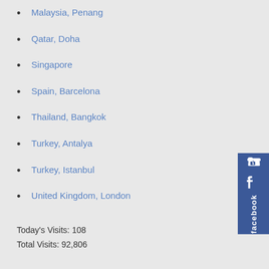Malaysia, Penang
Qatar, Doha
Singapore
Spain, Barcelona
Thailand, Bangkok
Turkey, Antalya
Turkey, Istanbul
United Kingdom, London
Today's Visits: 108
Total Visits: 92,806